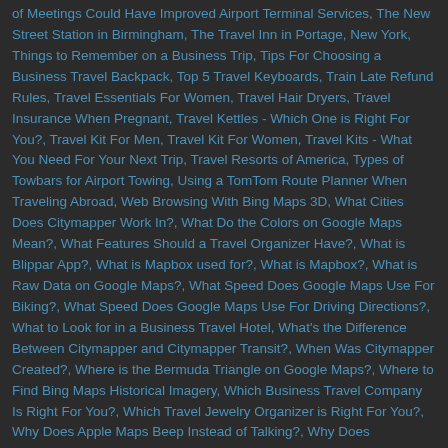of Meetings Could Have Improved Airport Terminal Services, The New Street Station in Birmingham, The Travel Inn in Portage, New York, Things to Remember on a Business Trip, Tips For Choosing a Business Travel Backpack, Top 5 Travel Keyboards, Train Late Refund Rules, Travel Essentials For Women, Travel Hair Dryers, Travel Insurance When Pregnant, Travel Kettles - Which One is Right For You?, Travel Kit For Men, Travel Kit For Women, Travel Kits - What You Need For Your Next Trip, Travel Resorts of America, Types of Towbars for Airport Towing, Using a TomTom Route Planner When Traveling Abroad, Web Browsing With Bing Maps 3D, What Cities Does Citymapper Work In?, What Do the Colors on Google Maps Mean?, What Features Should a Travel Organizer Have?, What is Blippar App?, What is Mapbox used for?, What is Mapbox?, What is Raw Data on Google Maps?, What Speed Does Google Maps Use For Biking?, What Speed Does Google Maps Use For Driving Directions?, What to Look for in a Business Travel Hotel, What's the Difference Between Citymapper and Citymapper Transit?, When Was Citymapper Created?, Where is the Bermuda Triangle on Google Maps?, Where to Find Bing Maps Historical Imagery, Which Business Travel Company Is Right For You?, Which Travel Jewelry Organizer is Right For You?, Why Does Apple Maps Beep Instead of Talking?, Why Does Citymapper Show Walking?, Why is Wikitude Not Recognizing Images?